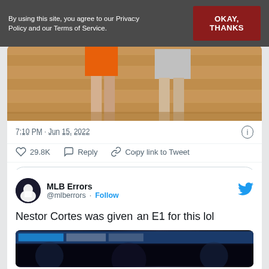By using this site, you agree to our Privacy Policy and our Terms of Service.
OKAY, THANKS
[Figure (photo): Partial photo of two people standing on a brick surface, showing only their lower bodies. Left person wearing orange shorts, right person wearing gray shorts.]
7:10 PM · Jun 15, 2022
29.8K   Reply   Copy link to Tweet
Read 1.1K replies
MLB Errors @mlberrors · Follow
Nestor Cortes was given an E1 for this lol
[Figure (screenshot): Partial screenshot of a baseball broadcast with scoreboard/ticker visible at bottom.]